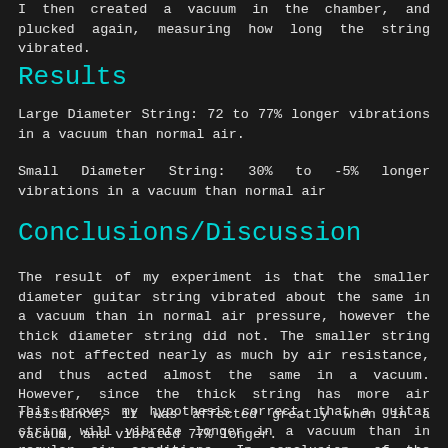I then created a vacuum in the chamber, and plucked again, measuring how long the string vibrated.
Results
Large Diameter String: 72 to 77% longer vibrations in a vacuum than normal air.
Small Diameter String: 30% to -5% longer vibrations in a vacuum than normal air
Conclusions/Discussion
The result of my experiment is that the smaller diameter guitar string vibrated about the same in a vacuum than in normal air pressure, however the thick diameter string did not. The smaller string was not affected nearly as much by air resistance, and thus acted almost the same in a vacuum. However, since the thick string has more air resistance, it was affected greatly when in a vacuum, and vibrated 77% longer.
This proves my hypothesis correct, that a guitar string will vibrate longer in a vacuum than in regular air conditions. In conclusion, of the three factors that stop a guitar string from vibrating, air